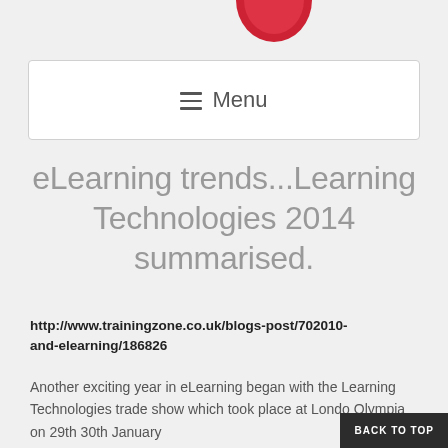[Figure (illustration): Partial red circular object (apple or ball) visible at top center of page]
☰ Menu
eLearning trends...Learning Technologies 2014 summarised.
http://www.trainingzone.co.uk/blogs-post/702010-and-elearning/186826
Another exciting year in eLearning began with the Learning Technologies trade show which took place at London Olympia on 29th 30th January
BACK TO TOP